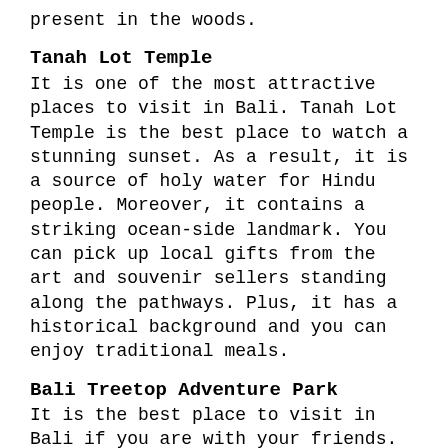present in the woods.
Tanah Lot Temple
It is one of the most attractive places to visit in Bali. Tanah Lot Temple is the best place to watch a stunning sunset. As a result, it is a source of holy water for Hindu people. Moreover, it contains a striking ocean-side landmark. You can pick up local gifts from the art and souvenir sellers standing along the pathways. Plus, it has a historical background and you can enjoy traditional meals.
Bali Treetop Adventure Park
It is the best place to visit in Bali if you are with your friends. You can enjoy many adventure activities here. Besides, Bali Treetop Adventure Park is famous for its fun and beautiful setting. Seven circuits contain fun for people of all ages. So, don't forget the safety briefings and take the start from